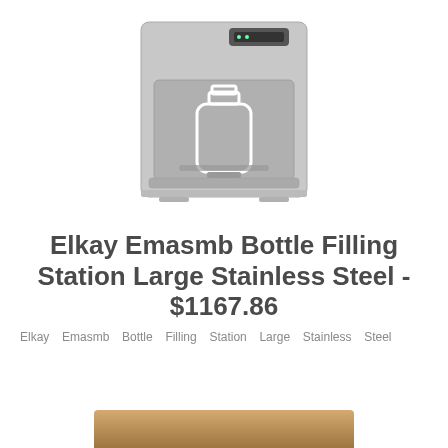[Figure (photo): Elkay Emasmb bottle filling station wall-mounted unit in stainless steel/gray color with bottle silhouette graphic and sensor bar at top]
Elkay Emasmb Bottle Filling Station Large Stainless Steel - $1167.86
Elkay Emasmb Bottle Filling Station Large Stainless Steel
[Figure (photo): Partial view of a second product image at the bottom of the page, showing a warm-toned brown surface]